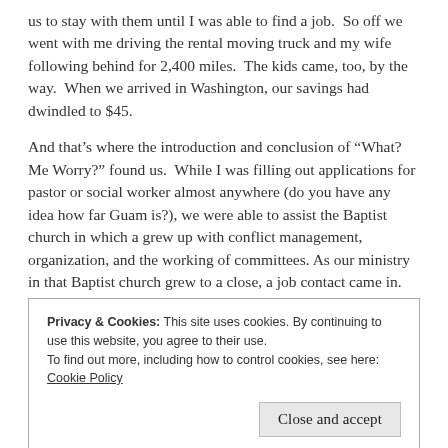us to stay with them until I was able to find a job. So off we went with me driving the rental moving truck and my wife following behind for 2,400 miles. The kids came, too, by the way. When we arrived in Washington, our savings had dwindled to $45.
And that's where the introduction and conclusion of “What? Me Worry?” found us. While I was filling out applications for pastor or social worker almost anywhere (do you have any idea how far Guam is?), we were able to assist the Baptist church in which a grew up with conflict management, organization, and the working of committees. As our ministry in that Baptist church grew to a close, a job contact came in. Do you know where I ended up at the end of ten months looking for work while helping out this little church? I
Privacy & Cookies: This site uses cookies. By continuing to use this website, you agree to their use.
To find out more, including how to control cookies, see here: Cookie Policy
group home agency, “but wait, let’s pause for ten months